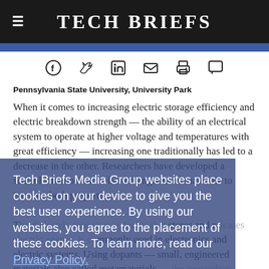Tech Briefs
[Figure (other): Social media sharing icons: Facebook, Twitter, LinkedIn, Email, Print, Comment]
Pennsylvania State University, University Park
When it comes to increasing electric storage efficiency and electric breakdown strength — the ability of an electrical system to operate at higher voltage and temperatures with great efficiency — increasing one traditionally has led to a decrease in the other. Researchers have developed a scalable method that relies on engineered materials to increase both properties. The dielectric capacitor, a device that stores and releases electric energy, is commonly used in electronics and electric systems. Using dopants — small, engineered materials also called metamaterials — the researchers modified the dielectric capacitor to increase storage capacity while also increasing electric charge efficiency, meaning the capacitor can withstand greater voltage
Tech Briefs Media Group websites place cookies on your device to give you the best user experience. By using our websites, you agree to the placement of these cookies. To learn more, read our Privacy Policy.